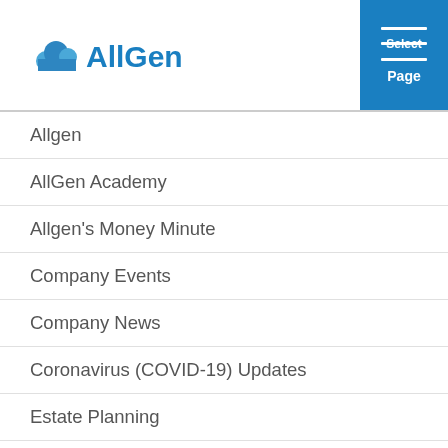AllGen — Select Page navigation header
Allgen
AllGen Academy
Allgen's Money Minute
Company Events
Company News
Coronavirus (COVID-19) Updates
Estate Planning
Events
Featured Posts
Financial Planning
Formation
Foundation